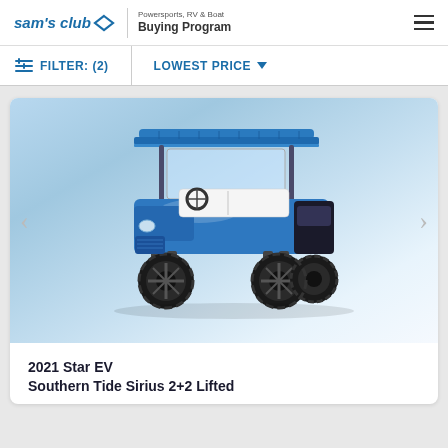sam's club | Powersports, RV & Boat Buying Program
FILTER: (2)   LOWEST PRICE
[Figure (photo): Blue lifted electric golf cart (Star EV Southern Tide Sirius 2+2 Lifted) with large off-road tires and blue canopy roof, displayed on a blue-white gradient background]
2021 Star EV
Southern Tide Sirius 2+2 Lifted